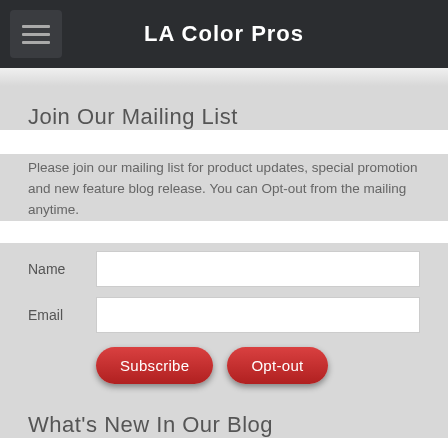LA Color Pros
Join Our Mailing List
Please join our mailing list for product updates, special promotion and new feature blog release. You can Opt-out from the mailing anytime.
Name  [input field]
Email  [input field]
[Subscribe button]  [Opt-out button]
What's New In Our Blog